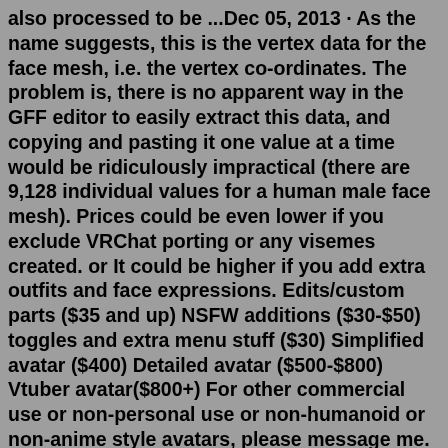also processed to be ...Dec 05, 2013 · As the name suggests, this is the vertex data for the face mesh, i.e. the vertex co-ordinates. The problem is, there is no apparent way in the GFF editor to easily extract this data, and copying and pasting it one value at a time would be ridiculously impractical (there are 9,128 individual values for a human male face mesh). Prices could be even lower if you exclude VRChat porting or any visemes created. or It could be higher if you add extra outfits and face expressions. Edits/custom parts ($35 and up) NSFW additions ($30-$50) toggles and extra menu stuff ($30) Simplified avatar ($400) Detailed avatar ($500-$800) Vtuber avatar($800+) For other commercial use or non-personal use or non-humanoid or non-anime style avatars, please message me. If you're not a streamer/vtuber or otherwise not going to be using the model commercially in any way, e.g. you want a private vrchat avatar, the final price will be up to 50% off, but I may prioritise full price commissions. Nov 02, 2021 · When Mesh for Teams